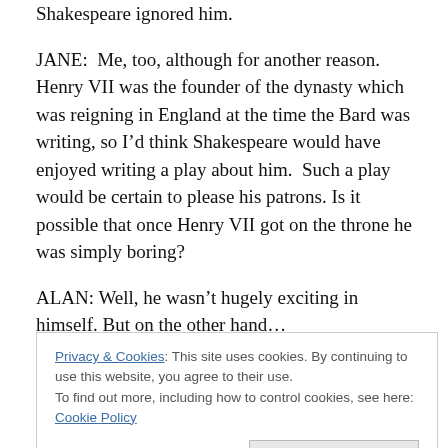Shakespeare ignored him.
JANE:  Me, too, although for another reason.  Henry VII was the founder of the dynasty which was reigning in England at the time the Bard was writing, so I'd think Shakespeare would have enjoyed writing a play about him.  Such a play would be certain to please his patrons.  Is it possible that once Henry VII got on the throne he was simply boring?
ALAN: Well, he wasn't hugely exciting in himself. But on the other hand…
Privacy & Cookies: This site uses cookies. By continuing to use this website, you agree to their use.
To find out more, including how to control cookies, see here: Cookie Policy
Close and accept